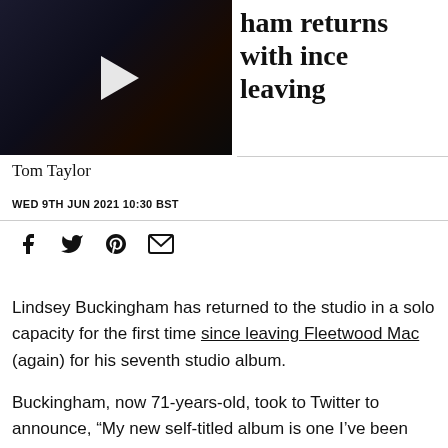[Figure (screenshot): Video thumbnail showing a performer in dark clothing singing, with a play button overlay]
ham returns with ince leaving
Tom Taylor
WED 9TH JUN 2021 10:30 BST
[Figure (infographic): Social share icons: Facebook, Twitter, Pinterest, Email]
Lindsey Buckingham has returned to the studio in a solo capacity for the first time since leaving Fleetwood Mac (again) for his seventh studio album.
Buckingham, now 71-years-old, took to Twitter to announce, “My new self-titled album is one I’ve been intending to get out for a couple of years now, but on